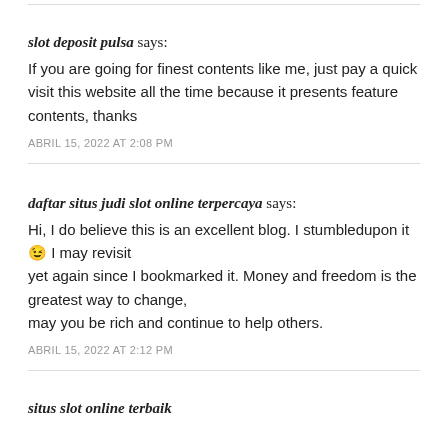slot deposit pulsa says:
If you are going for finest contents like me, just pay a quick visit this website all the time because it presents feature contents, thanks
ABRIL 15, 2022 AT 2:08 PM
daftar situs judi slot online terpercaya says:
Hi, I do believe this is an excellent blog. I stumbledupon it 😉 I may revisit yet again since I bookmarked it. Money and freedom is the greatest way to change, may you be rich and continue to help others.
ABRIL 15, 2022 AT 2:12 PM
situs slot online terbaik